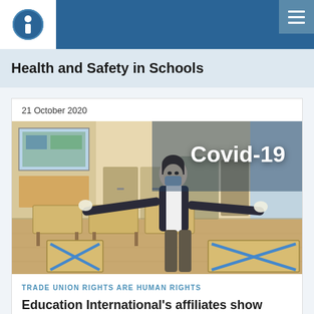Health and Safety in Schools
21 October 2020
[Figure (photo): A masked teacher wearing gloves measuring desk spacing in a classroom during Covid-19, with 'Covid-19' text overlay in white on the right side of the image.]
TRADE UNION RIGHTS ARE HUMAN RIGHTS
Education International's affiliates show